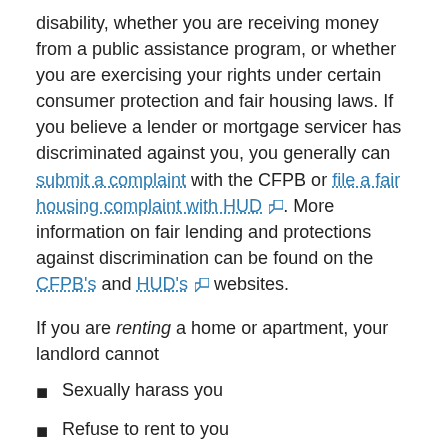disability, whether you are receiving money from a public assistance program, or whether you are exercising your rights under certain consumer protection and fair housing laws. If you believe a lender or mortgage servicer has discriminated against you, you generally can submit a complaint with the CFPB or file a fair housing complaint with HUD. More information on fair lending and protections against discrimination can be found on the CFPB's and HUD's websites.
If you are renting a home or apartment, your landlord cannot
Sexually harass you
Refuse to rent to you
Evict you, or
Change or set different rules for your rental agreement
because of your race, color, national origin (country of origin or ancestry), religion, sex (including sexual orientation and gender identity), family status (pregnancy...